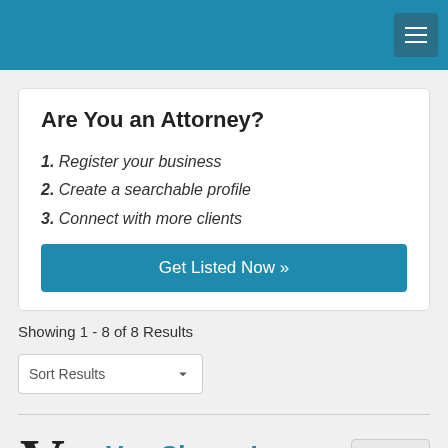Are You an Attorney?
1. Register your business
2. Create a searchable profile
3. Connect with more clients
Get Listed Now »
Showing 1 - 8 of 8 Results
Sort Results
Van Cleave Law